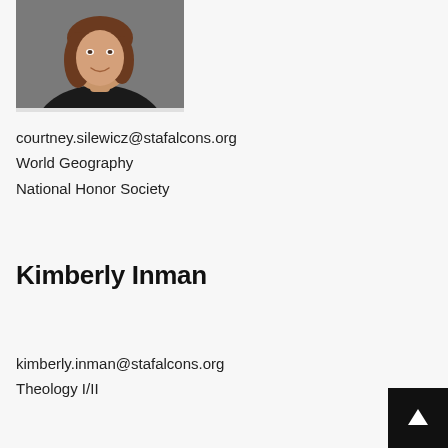[Figure (photo): Headshot photo of a woman with long brown hair wearing a black top, smiling, against a grey background]
courtney.silewicz@stafalcons.org
World Geography
National Honor Society
Kimberly Inman
kimberly.inman@stafalcons.org
Theology I/II